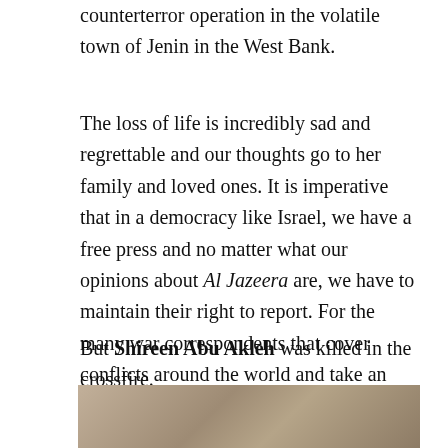counterterror operation in the volatile town of Jenin in the West Bank.
The loss of life is incredibly sad and regrettable and our thoughts go to her family and loved ones. It is imperative that in a democracy like Israel, we have a free press and no matter what our opinions about Al Jazeera are, we have to maintain their right to report. For the many war correspondents that cover conflicts around the world and take an enormous risk doing so, it is important that they are able to work as safely as possible.
But Shireen Abu Akleh was killed in the crossfire.
[Figure (photo): Partial photograph showing a woman with reddish-brown hair in front of a stone wall background]